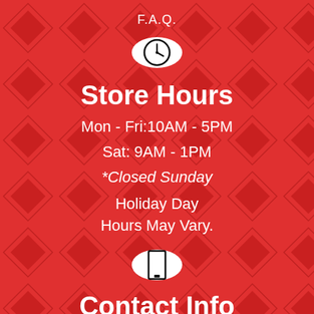F.A.Q.
[Figure (illustration): White circle with a clock icon]
Store Hours
Mon - Fri:10AM - 5PM
Sat: 9AM - 1PM
*Closed Sunday
Holiday Day
Hours May Vary.
[Figure (illustration): White circle with a phone/contact icon]
Contact Info
567-249-4060